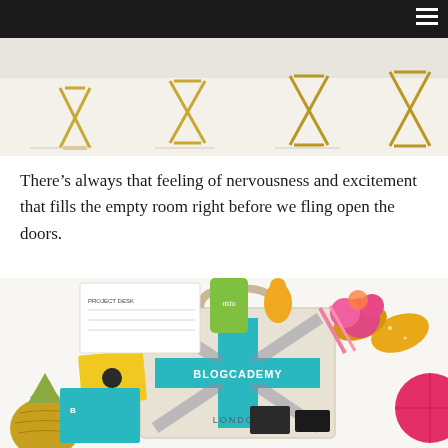Navigation bar with hamburger menu
[Figure (photo): Empty event room with gold cross-legged folding chairs arranged in rows on a white floor, seen from above/wide angle.]
There’s always that feeling of nervousness and excitement that fills the empty room right before we fling open the doors.
[Figure (photo): Flat lay of Blogcademy London merchandise and swag including a tote bag with Union Jack design reading BLOGCADEMY LONDON in teal, a gold glitter pineapple, pink flowers, yellow and teal stationery items, a project desk pad, small figurines, and a hot pink honeycomb decoration.]